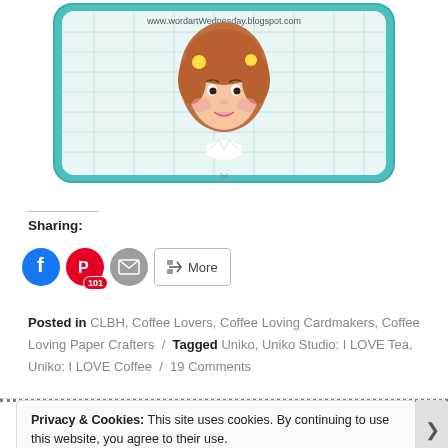[Figure (illustration): Blog logo with a vintage illustration of a girl with brown hair and yellow flowers, framed in a teal decorative border with a plaid background. URL text at top: www.wordartWednesday.blogspot.com]
Sharing:
[Figure (infographic): Row of social sharing buttons: Facebook (blue circle), Pinterest (red circle with 101 badge), Email (grey circle), and a More button with share icon]
Posted in CLBH, Coffee Lovers, Coffee Loving Cardmakers, Coffee Loving Paper Crafters / Tagged Uniko, Uniko Studio: I LOVE Tea, Uniko: I LOVE Coffee / 19 Comments
Privacy & Cookies: This site uses cookies. By continuing to use this website, you agree to their use.
To find out more, including how to control cookies, see here: Cookie Policy
Close and accept